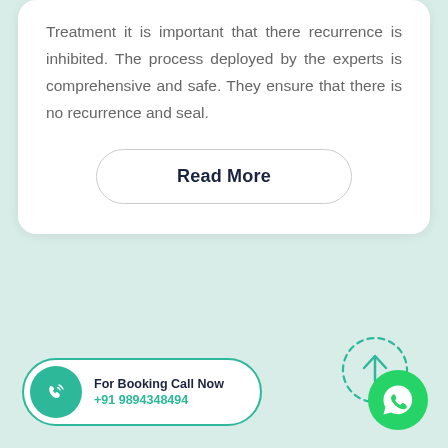Treatment it is important that there recurrence is inhibited. The process deployed by the experts is comprehensive and safe. They ensure that there is no recurrence and seal.
Read More
[Figure (illustration): Dashed circle with upward arrow inside, teal/green color — scroll-to-top button]
[Figure (infographic): Call Now bar with phone icon and text 'For Booking Call Now +91 9894348494']
[Figure (illustration): Green WhatsApp icon circle in bottom-right corner]